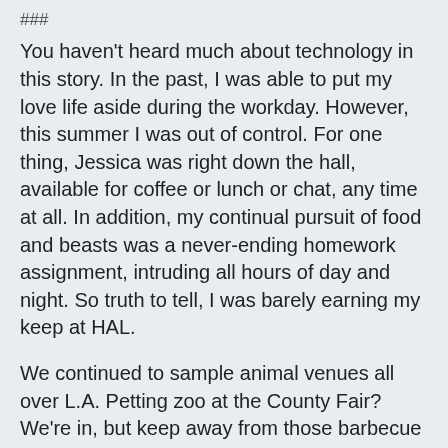###
You haven't heard much about technology in this story.  In the past, I was able to put my love life aside during the workday.  However, this summer I was out of control.  For one thing, Jessica was right down the hall, available for coffee or lunch or chat, any time at all.  In addition, my continual pursuit of food and beasts was a never-ending homework assignment, intruding all hours of day and night.  So truth to tell, I was barely earning my keep at HAL.
We continued to sample animal venues all over L.A.  Petting zoo at the County Fair?  We're in, but keep away from those barbecue stands, the aroma might make me faint from hunger.  Horse riding in the Malibu hills?  Jessica was bouncing in her saddle and I was back there on the trail